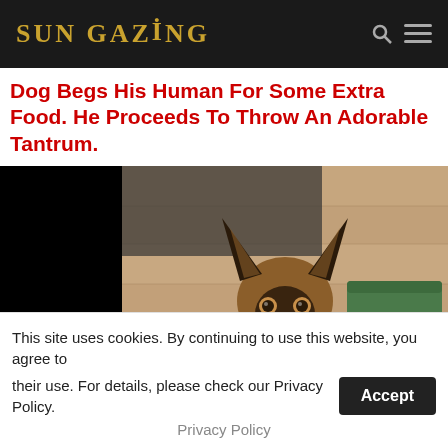SUN GAZING
Dog Begs His Human For Some Extra Food. He Proceeds To Throw An Adorable Tantrum.
[Figure (photo): A German Shepherd dog sitting on a wooden floor, ears perked up, looking at the camera. A green container is visible in the background to the right. The photo has a video letterbox (black bars) on left and right sides.]
This site uses cookies. By continuing to use this website, you agree to their use. For details, please check our Privacy Policy.
Privacy Policy